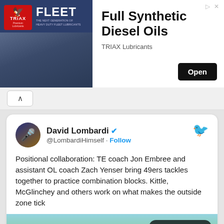[Figure (other): TRIAX Fleet lubricants advertisement banner showing logo, truck, and text 'Full Synthetic Diesel Oils' with Open button]
Full Synthetic Diesel Oils
TRIAX Lubricants
[Figure (screenshot): Twitter/X tweet card from David Lombardi (@LombardiHimself) with verified badge. Tweet text: 'Positional collaboration: TE coach Jon Embree and assistant OL coach Zach Yenser bring 49ers tackles together to practice combination blocks. Kittle, McGlinchey and others work on what makes the outside zone tick'. Includes video thumbnail with Watch on Twitter button and play button overlay showing football practice field scene.]